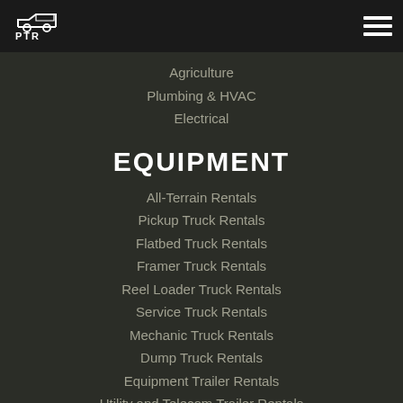[Figure (logo): PTR logo — white outline drawing of a pickup truck cab with text PTR beneath it]
Agriculture
Plumbing & HVAC
Electrical
EQUIPMENT
All-Terrain Rentals
Pickup Truck Rentals
Flatbed Truck Rentals
Framer Truck Rentals
Reel Loader Truck Rentals
Service Truck Rentals
Mechanic Truck Rentals
Dump Truck Rentals
Equipment Trailer Rentals
Utility and Telecom Trailer Rentals